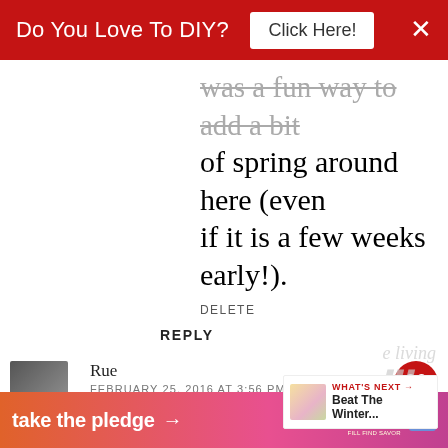[Figure (screenshot): Red advertisement banner at top saying 'Do You Love To DIY?' with a white 'Click Here!' button and an X close button]
was a fun way to add a bit of spring around here (even if it is a few weeks early!).
DELETE
REPLY
Rue
FEBRUARY 25, 2016 AT 3:56 PM
That's a cute idea, Kim!
The closest I come to using wear for decor is the two cloches
[Figure (infographic): WHAT'S NEXT arrow widget showing 'Beat The Winter...' with a floral thumbnail image]
[Figure (screenshot): Bottom advertisement banner: 'take the pledge' with arrow, Release and ed logos]